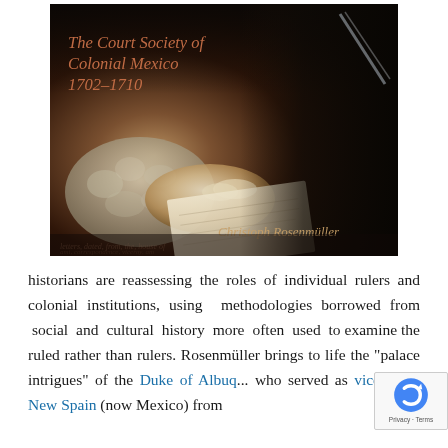[Figure (photo): Book cover of 'The Court Society of Colonial Mexico 1702-1710' by Christoph Rosenmüller. Dark toned painting detail showing a hand in lace ruff holding a paper, with dark robed figure behind. Title text in italic orange-red, author name in golden italic at bottom right.]
historians are reassessing the roles of individual rulers and colonial institutions, using  methodologies borrowed from  social  and  cultural  history  more  often  used  to examine the ruled rather than rulers. Rosenmüller brings to life the "palace intrigues" of the Duke of Albuquerque, who served as viceroy of New Spain (now Mexico) from